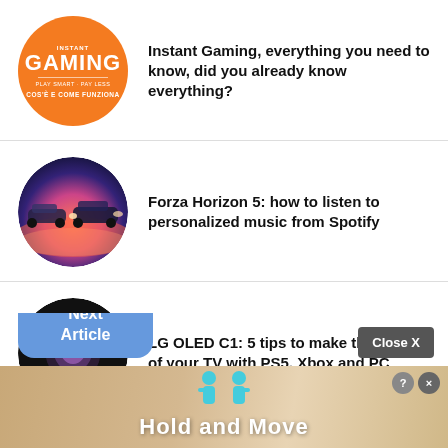[Figure (illustration): Orange circle with Instant Gaming logo and text 'COS'E E COME FUNZIONA']
Instant Gaming, everything you need to know, did you already know everything?
[Figure (photo): Circular thumbnail of Forza Horizon 5 game scene with cars in colorful twilight]
Forza Horizon 5: how to listen to personalized music from Spotify
[Figure (photo): Circular thumbnail of LG OLED TV showing glowing purple tree on dark background]
LG OLED C1: 5 tips to make the most of your TV with PS5, Xbox and PC
[Figure (screenshot): Next Article button overlay in blue, Close X button in gray, and ad banner 'Hold and Move' with cyan figures on wood-tone background]